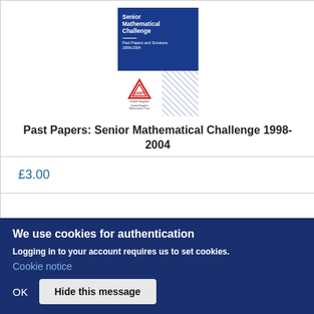[Figure (illustration): Book cover of 'Senior Mathematical Challenge Past Papers and Solutions 1998-2004' with dark blue background, UKMT logo at bottom left, and a geometric dot pattern at bottom right]
Past Papers: Senior Mathematical Challenge 1998-2004
£3.00
We use cookies for authentication
Logging in to your account requires us to set cookies.
Cookie notice
OK
Hide this message